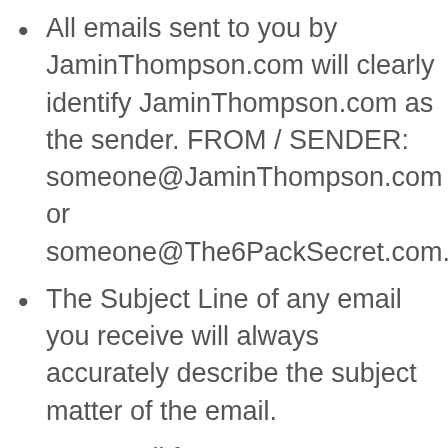All emails sent to you by JaminThompson.com will clearly identify JaminThompson.com as the sender. FROM / SENDER: someone@JaminThompson.com or someone@The6PackSecret.com.
The Subject Line of any email you receive will always accurately describe the subject matter of the email.
Any email from JaminThompson.com will include the ability to unsubscribe from future email messages.
Unsubscribing will ensure the customer is removed from ALL lists at JaminThompson.com; this excludes